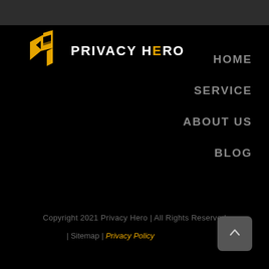[Figure (logo): Privacy Hero logo with golden shield/arrow icon and white text 'PRIVACY HERO']
HOME
SERVICE
ABOUT US
BLOG
Copyright 2021 Privacy Hero | All Rights Reserved
| Sitemap | Privacy Policy